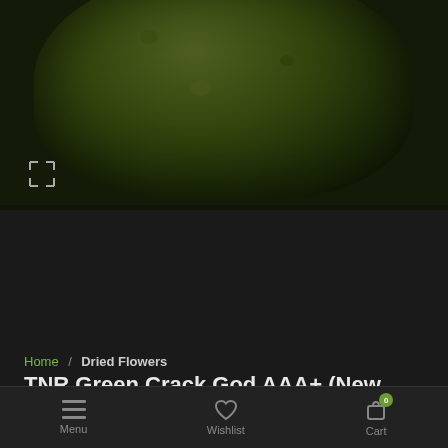[Figure (photo): Dark background with cannabis buds/flowers displayed — one large bud at top center and three smaller buds in a thumbnail row below]
Home / Dried Flowers
TNR Green Crack God AAA+ (New Batch)
$29.95 – $1,499.95
Menu  Wishlist  Cart